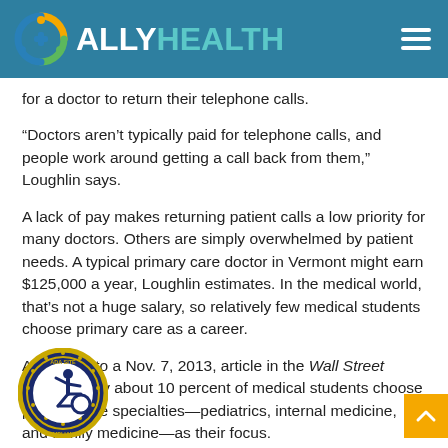ALLY HEALTH
for a doctor to return their telephone calls.
“Doctors aren’t typically paid for telephone calls, and people work around getting a call back from them,” Loughlin says.
A lack of pay makes returning patient calls a low priority for many doctors. Others are simply overwhelmed by patient needs. A typical primary care doctor in Vermont might earn $125,000 a year, Loughlin estimates. In the medical world, that’s not a huge salary, so relatively few medical students choose primary care as a career.
According to a Nov. 7, 2013, article in the Wall Street Journal, only about 10 percent of medical students choose primary care specialties—pediatrics, internal medicine, and family medicine—as their focus.